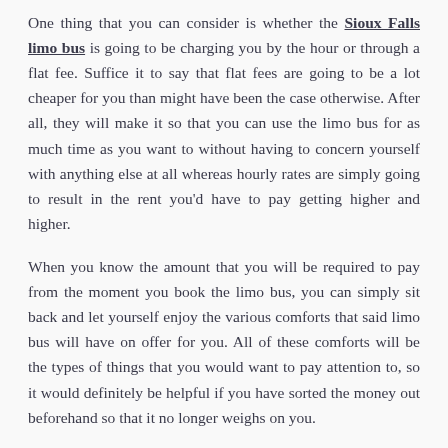One thing that you can consider is whether the Sioux Falls limo bus is going to be charging you by the hour or through a flat fee. Suffice it to say that flat fees are going to be a lot cheaper for you than might have been the case otherwise. After all, they will make it so that you can use the limo bus for as much time as you want to without having to concern yourself with anything else at all whereas hourly rates are simply going to result in the rent you'd have to pay getting higher and higher.
When you know the amount that you will be required to pay from the moment you book the limo bus, you can simply sit back and let yourself enjoy the various comforts that said limo bus will have on offer for you. All of these comforts will be the types of things that you would want to pay attention to, so it would definitely be helpful if you have sorted the money out beforehand so that it no longer weighs on you.